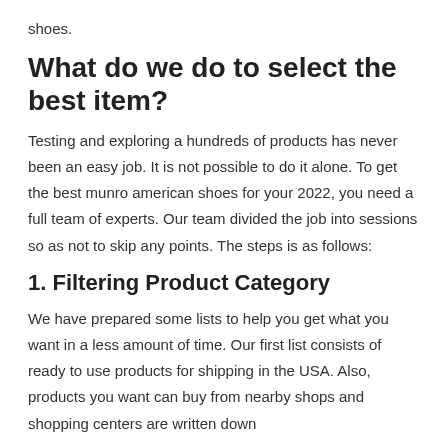shoes.
What do we do to select the best item?
Testing and exploring a hundreds of products has never been an easy job. It is not possible to do it alone. To get the best munro american shoes for your 2022, you need a full team of experts. Our team divided the job into sessions so as not to skip any points. The steps is as follows:
1. Filtering Product Category
We have prepared some lists to help you get what you want in a less amount of time. Our first list consists of ready to use products for shipping in the USA. Also, products you want can buy from nearby shops and shopping centers are written down